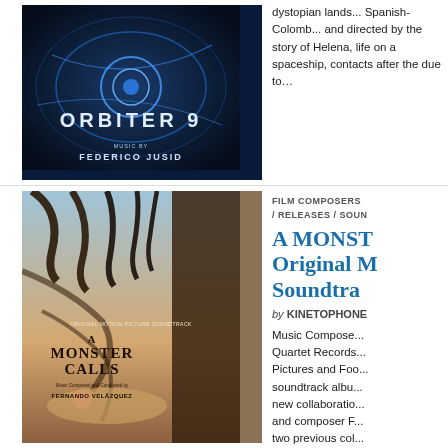[Figure (photo): Orbiter 9 movie soundtrack album cover - dark blue space background with circular light patterns and title text 'ORBITER 9' with 'MUSIC BY FEDERICO JUSID']
dystopian lands... Spanish-Colombian and directed by the story of Helena, life on a spaceship, contacts after the due to...
[Figure (photo): A Monster Calls original motion picture soundtrack album cover - shows giant tree monster hand reaching down, with a person lying below. Text reads 'ORIGINAL MOTION PICTURE SOUNDTRACK', 'A MONSTER CALLS', 'Music Composed and Conducted by FERNANDO VELÁZQUEZ']
FILM COMPOSERS / RELEASES / SOUND
A MONSTER CALLS Original Motion Picture Soundtrack
by KINETOPHONE
Music Composed... Quartet Records... Pictures and Foo... soundtrack albu... new collaboratio... and composer F... two previous col...